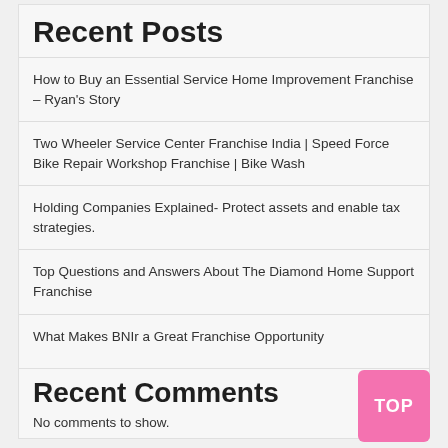Recent Posts
How to Buy an Essential Service Home Improvement Franchise – Ryan's Story
Two Wheeler Service Center Franchise India | Speed Force Bike Repair Workshop Franchise | Bike Wash
Holding Companies Explained- Protect assets and enable tax strategies.
Top Questions and Answers About The Diamond Home Support Franchise
What Makes BNIr a Great Franchise Opportunity
Recent Comments
No comments to show.